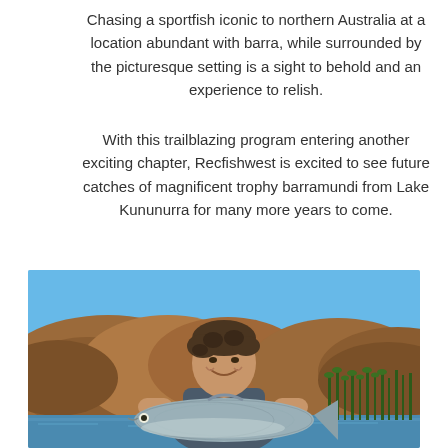Chasing a sportfish iconic to northern Australia at a location abundant with barra, while surrounded by the picturesque setting is a sight to behold and an experience to relish.
With this trailblazing program entering another exciting chapter, Recfishwest is excited to see future catches of magnificent trophy barramundi from Lake Kununurra for many more years to come.
[Figure (photo): A smiling man holding a large barramundi fish, standing in a boat on a river. Behind him are rocky red-brown hills and blue sky. Green reeds are visible on the right side.]